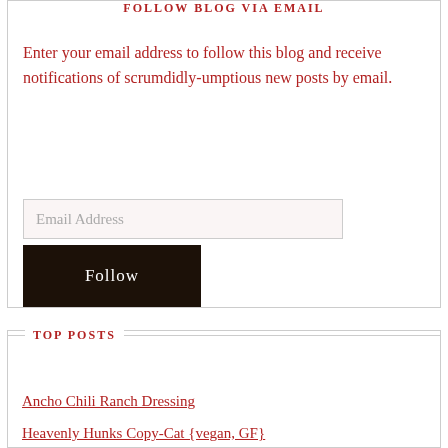FOLLOW BLOG VIA EMAIL
Enter your email address to follow this blog and receive notifications of scrumdidly-umptious new posts by email.
Email Address
Follow
Join 615 other followers
TOP POSTS
Ancho Chili Ranch Dressing
Heavenly Hunks Copy-Cat {vegan, GF}